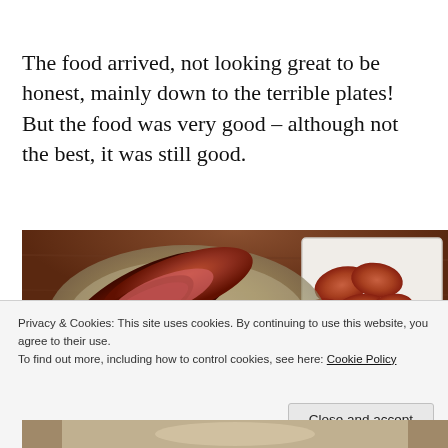The food arrived, not looking great to be honest, mainly down to the terrible plates! But the food was very good – although not the best, it was still good.
[Figure (photo): Photo of BBQ food — grilled ribs/meat on a plate with sides, and sausages in a separate container, on a wooden table surface.]
Privacy & Cookies: This site uses cookies. By continuing to use this website, you agree to their use.
To find out more, including how to control cookies, see here: Cookie Policy
[Figure (photo): Partial photo visible at the bottom of the page, appears to show another dish.]